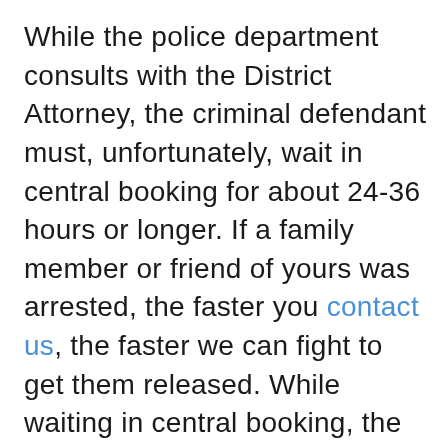While the police department consults with the District Attorney, the criminal defendant must, unfortunately, wait in central booking for about 24-36 hours or longer. If a family member or friend of yours was arrested, the faster you contact us, the faster we can fight to get them released. While waiting in central booking, the criminal defendant may be interrogated by the District Attorney. This is a common strategy by the District Attorney because they are aware that most people don't have a lawyer and don't know their rights. Basically, a pre-arraignment interrogation is a blatant attempt to trick defendants into making a statement.